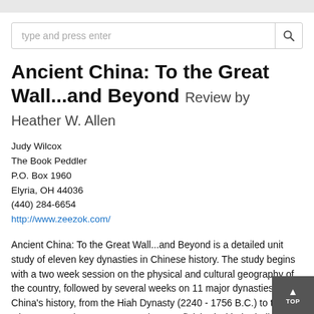Ancient China: To the Great Wall...and Beyond Review by Heather W. Allen
Judy Wilcox
The Book Peddler
P.O. Box 1960
Elyria, OH 44036
(440) 284-6654
http://www.zeezok.com/
Ancient China: To the Great Wall...and Beyond is a detailed unit study of eleven key dynasties in Chinese history. The study begins with a two week session on the physical and cultural geography of the country, followed by several weeks on 11 major dynasties in China's history, from the Hiah Dynasty (2240 - 1756 B.C.) to the Qing Dynasty (A.D. 1644 - 1912). Once finished with the bulk of the dynasties there is time for discussion of how China's dynasties gave way to Communism.